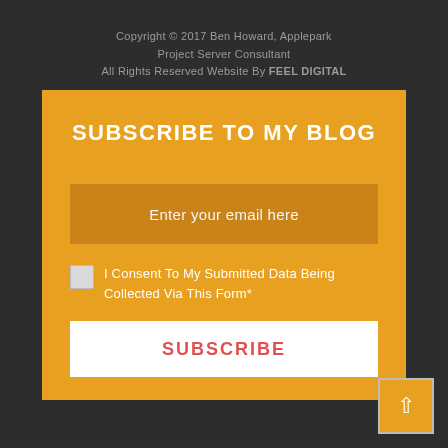Copyright © 2017 Ben Howard, Applepark Project Server Consultant All Rights Reserved Website By FEEL DIGITAL
SUBSCRIBE TO MY BLOG
Enter your email here
I Consent To My Submitted Data Being Collected Via This Form*
SUBSCRIBE